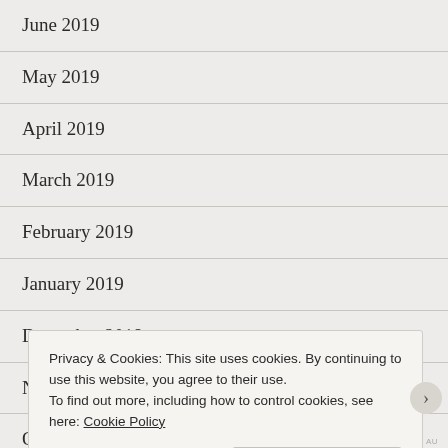June 2019
May 2019
April 2019
March 2019
February 2019
January 2019
December 2018
November 2018
October 2018
Privacy & Cookies: This site uses cookies. By continuing to use this website, you agree to their use.
To find out more, including how to control cookies, see here: Cookie Policy
Close and accept
AIRPORT TIME AU